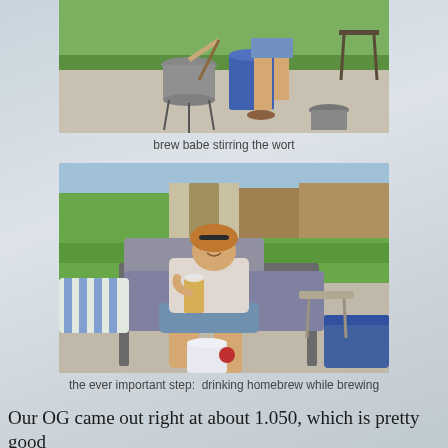[Figure (photo): Outdoor photo of someone stirring a large brew pot on a burner stand, with a blue bucket nearby, on a concrete patio with green grass in background]
brew babe stirring the wort
[Figure (photo): Woman sitting in a patio lounge chair holding up a glass of beer/homebrew, smiling at camera, with green lawn and shed in background, white bucket and cooler nearby]
the ever important step:  drinking homebrew while brewing
Our OG came out right at about 1.050, which is pretty good